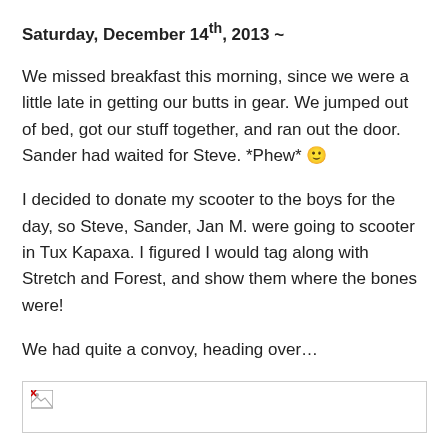Saturday, December 14th, 2013 ~
We missed breakfast this morning, since we were a little late in getting our butts in gear. We jumped out of bed, got our stuff together, and ran out the door. Sander had waited for Steve. *Phew* 🙂
I decided to donate my scooter to the boys for the day, so Steve, Sander, Jan M. were going to scooter in Tux Kapaxa. I figured I would tag along with Stretch and Forest, and show them where the bones were!
We had quite a convoy, heading over…
[Figure (photo): Broken/missing image placeholder]